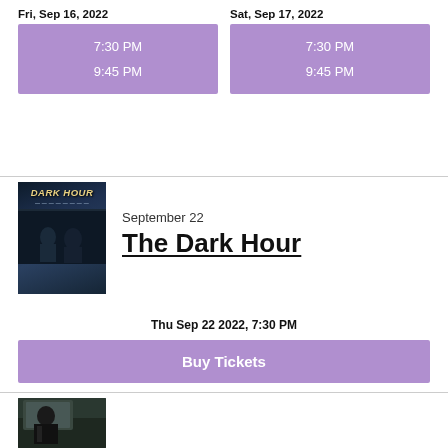Fri, Sep 16, 2022
7:30 PM
9:45 PM
Sat, Sep 17, 2022
7:30 PM
9:45 PM
[Figure (photo): Dark Hour movie poster with yellow text on dark blue background]
September 22
The Dark Hour
Thu Sep 22 2022, 7:30 PM
Buy Tickets
[Figure (photo): Movie still showing a person in a car]